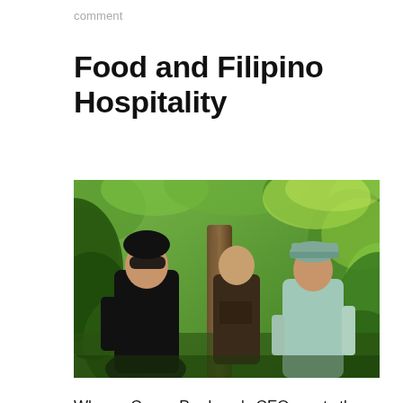comment
Food and Filipino Hospitality
[Figure (photo): Three people standing in a lush green tropical forest/cacao plantation. The person on the left wears a black t-shirt and sunglasses, the middle person wears a dark brown t-shirt, and the person on the right wears a light blue top and cap.]
When a Cacao Producer’s CEO meets the Cacao Authority’s CEO, #CacaoTalks do not stop at